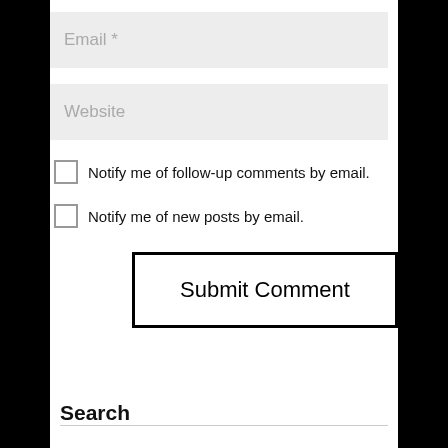Email *
Website
Notify me of follow-up comments by email.
Notify me of new posts by email.
Submit Comment
Search